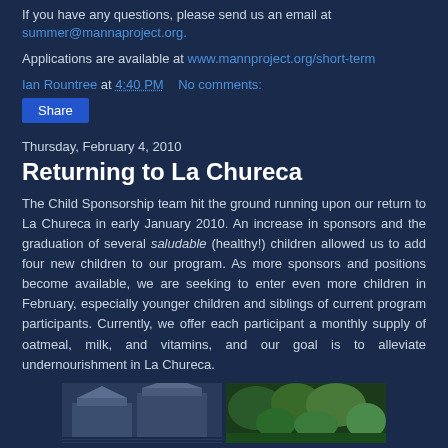If you have any questions, please send us an email at summer@mannaproject.org.
Applications are available at www.mannproject.org/short-term
Ian Rountree at 4:40 PM    No comments:
Share
Thursday, February 4, 2010
Returning to La Chureca
The Child Sponsorship team hit the ground running upon our return to La Chureca in early January 2010. An increase in sponsors and the graduation of several saludable (healthy!) children allowed us to add four new children to our program. As more sponsors and positions become available, we are seeking to enter even more children in February, especially younger children and siblings of current program participants. Currently, we offer each participant a monthly supply of oatmeal, milk, and vitamins, and our goal is to alleviate undernourishment in La Chureca.
[Figure (photo): Two photos side by side at the bottom of the page, left showing a building/structure scene in blue tones, right showing green foliage/plants]